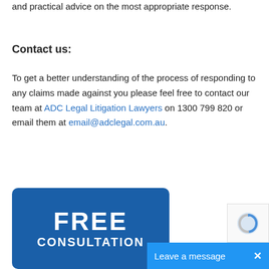and practical advice on the most appropriate response.
Contact us:
To get a better understanding of the process of responding to any claims made against you please feel free to contact our team at ADC Legal Litigation Lawyers on 1300 799 820 or email them at email@adclegal.com.au.
[Figure (infographic): Blue rounded rectangle banner with text FREE CONSULTATION in white bold letters]
[Figure (other): Live chat bar reading Leave a message with an X close button, blue background]